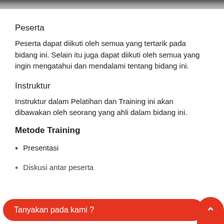Peserta
Peserta dapat diikuti oleh semua yang tertarik pada bidang ini. Selain itu juga dapat diikuti oleh semua yang ingin mengatahui dan mendalami tentang bidang ini.
Instruktur
Instruktur dalam Pelatihan dan Training ini akan dibawakan oleh seorang yang ahli dalam bidang ini.
Metode Training
Presentasi
Diskusi antar peserta
Tanyakan pada kami ?